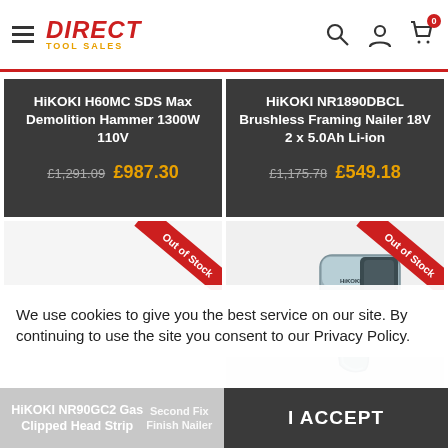Direct Tool Sales — Navigation header with hamburger menu, search, account, and cart icons
HiKOKI H60MC SDS Max Demolition Hammer 1300W 110V — Old price: £1,291.09, New price: £987.30
HiKOKI NR1890DBCL Brushless Framing Nailer 18V 2 x 5.0Ah Li-ion — Old price: £1,175.78, New price: £549.18
[Figure (photo): Left product card showing loading spinner with Out of Stock ribbon]
[Figure (photo): Right product card showing HiKOKI framing nailer with Out of Stock ribbon]
We use cookies to give you the best service on our site. By continuing to use the site you consent to our Privacy Policy.
HiKOKI NR90GC2 Gas Clipped Head Strip
Second Fix Finish Nailer
I ACCEPT